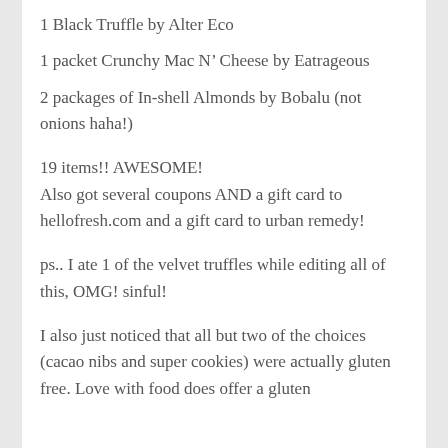1 Black Truffle by Alter Eco
1 packet Crunchy Mac N’ Cheese by Eatrageous
2 packages of In-shell Almonds by Bobalu (not onions haha!)
19 items!! AWESOME!
Also got several coupons AND a gift card to hellofresh.com and a gift card to urban remedy!
ps.. I ate 1 of the velvet truffles while editing all of this, OMG! sinful!
I also just noticed that all but two of the choices (cacao nibs and super cookies) were actually gluten free. Love with food does offer a gluten